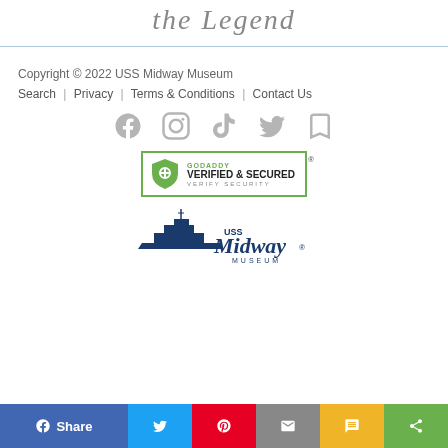the Legend
Copyright © 2022 USS Midway Museum
Search | Privacy | Terms & Conditions | Contact Us
[Figure (illustration): Social media icons: Facebook, Instagram, TikTok, Twitter, and one more icon in gray]
[Figure (logo): GoDaddy Verified & Secured badge with shield icon and Verify Security text]
[Figure (logo): USS Midway Museum logo with ship silhouette and stylized text]
[Figure (infographic): Share bar with Facebook Share, Twitter, Pinterest, Email, SMS, and More buttons]